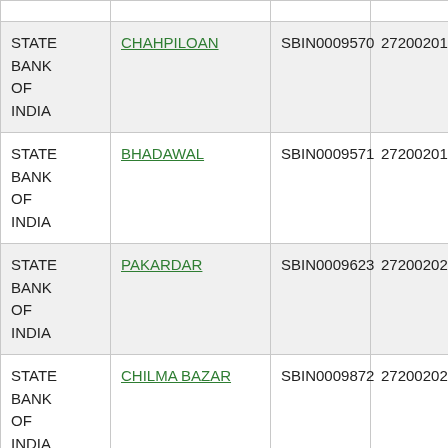| STATE BANK OF INDIA | CHAHPILOAN | SBIN0009570 | 272002018 |
| STATE BANK OF INDIA | BHADAWAL | SBIN0009571 | 272002019 |
| STATE BANK OF INDIA | PAKARDAR | SBIN0009623 | 272002020 |
| STATE BANK OF INDIA | CHILMA BAZAR | SBIN0009872 | 272002021 |